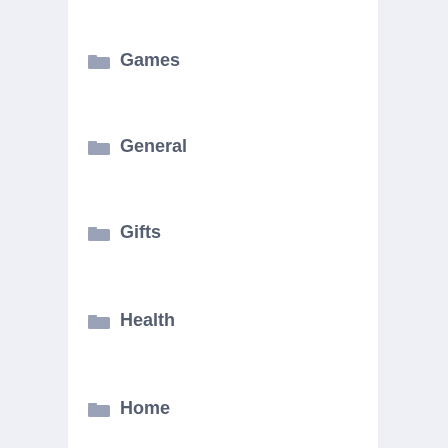Games
General
Gifts
Health
Home
Home Improvement
Hosting
Insurance
Internet Marketing
Law
Marketing
Online Shopping